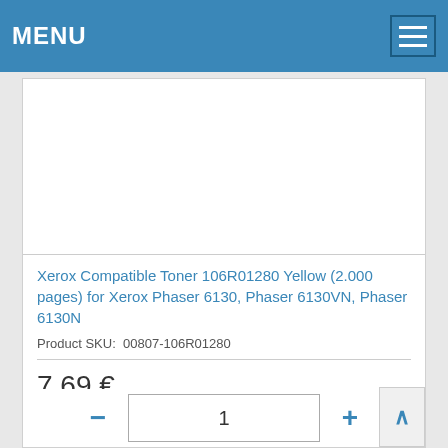MENU
[Figure (other): Product image area (blank/white) for Xerox Compatible Toner 106R01280 Yellow]
Xerox Compatible Toner 106R01280 Yellow (2.000 pages) for Xerox Phaser 6130, Phaser 6130VN, Phaser 6130N
Product SKU:  00807-106R01280
7,69 €
1